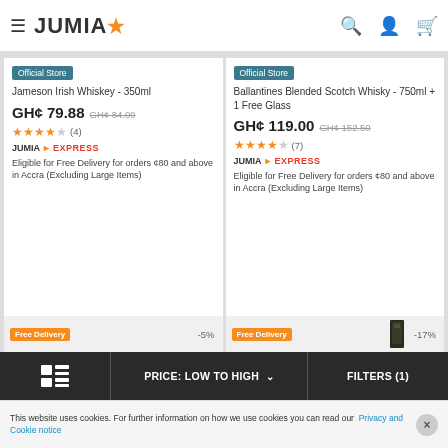JUMIA
Official Store
Jameson Irish Whiskey - 350ml
GH¢ 79.88  GH¢ 84.09
★★★★☆ (4)
JUMIA EXPRESS
Eligible for Free Delivery for orders ¢80 and above in Accra (Excluding Large Items)
ADD TO CART
Official Store
Ballantines Blended Scotch Whisky - 750ml + 1 Free Glass
GH¢ 119.00  GH¢ 152.50
★★★★☆ (7)
JUMIA EXPRESS
Eligible for Free Delivery for orders ¢80 and above in Accra (Excluding Large Items)
ADD TO CART
Free Delivery  -5%
Free Delivery  -17%
PRICE: LOW TO HIGH  FILTERS (1)
This website uses cookies. For further information on how we use cookies you can read our Privacy and Cookie notice